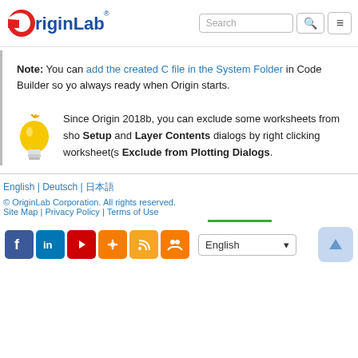[Figure (logo): OriginLab logo with red circle-O and blue text 'riginLab' with registered trademark]
Note: You can add the created C file in the System Folder in Code Builder so you always ready when Origin starts.
Since Origin 2018b, you can exclude some worksheets from showing in Plot Setup and Layer Contents dialogs by right clicking worksheet(s) and select Exclude from Plotting Dialogs.
English | Deutsch | 日本語
© OriginLab Corporation. All rights reserved.
Site Map | Privacy Policy | Terms of Use